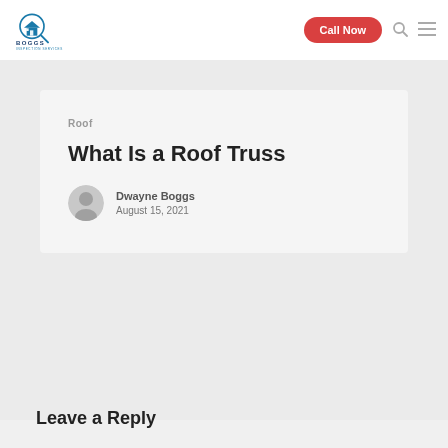[Figure (logo): Boggs Inspection Services logo with house and magnifying glass icon]
Call Now
Roof
What Is a Roof Truss
Dwayne Boggs
August 15, 2021
Leave a Reply